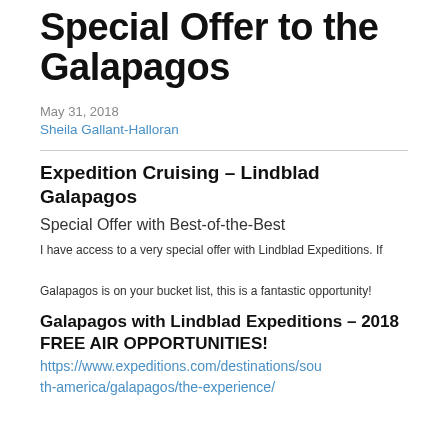Special Offer to the Galapagos
May 31, 2018
Sheila Gallant-Halloran
Expedition Cruising – Lindblad Galapagos
Special Offer with Best-of-the-Best
I have access to a very special offer with Lindblad Expeditions. If Galapagos is on your bucket list, this is a fantastic opportunity!
Galapagos with Lindblad Expeditions – 2018 FREE AIR OPPORTUNITIES!
https://www.expeditions.com/destinations/south-america/galapagos/the-experience/